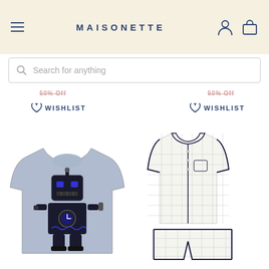MAISONETTE
Search for anything
50% Off
50% Off
WISHLIST
WISHLIST
[Figure (photo): Gray children's t-shirt with a robot graphic print]
[Figure (photo): White/grid pattern children's pajama set with navy piping — short-sleeve top and shorts]